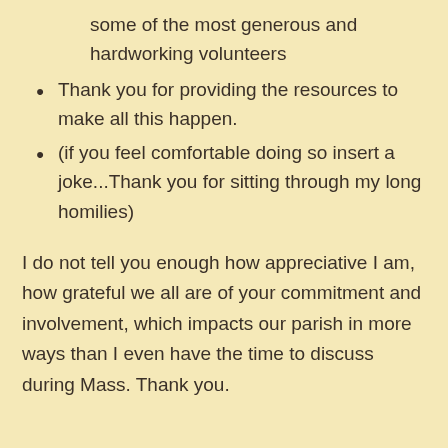some of the most generous and hardworking volunteers
Thank you for providing the resources to make all this happen.
(if you feel comfortable doing so insert a joke...Thank you for sitting through my long homilies)
I do not tell you enough how appreciative I am, how grateful we all are of your commitment and involvement, which impacts our parish in more ways than I even have the time to discuss during Mass. Thank you.